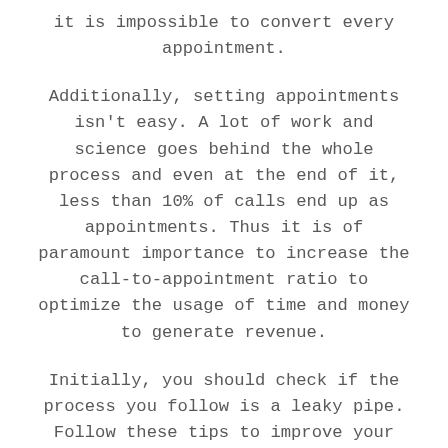it is impossible to convert every appointment.
Additionally, setting appointments isn't easy. A lot of work and science goes behind the whole process and even at the end of it, less than 10% of calls end up as appointments. Thus it is of paramount importance to increase the call-to-appointment ratio to optimize the usage of time and money to generate revenue.
Initially, you should check if the process you follow is a leaky pipe. Follow these tips to improve your sales with efficient and productive appointment setting: